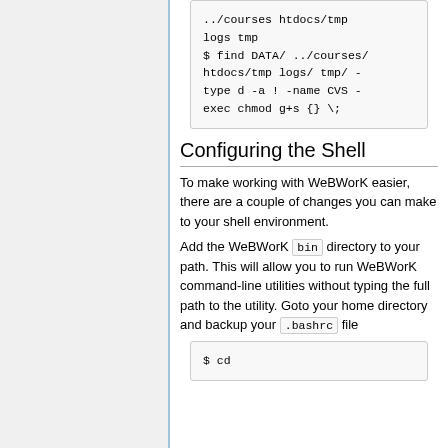../courses htdocs/tmp logs tmp
$ find DATA/ ../courses/htdocs/tmp logs/ tmp/ -type d -a ! -name CVS -exec chmod g+s {} \;
Configuring the Shell
To make working with WeBWorK easier, there are a couple of changes you can make to your shell environment.
Add the WeBWorK bin directory to your path. This will allow you to run WeBWorK command-line utilities without typing the full path to the utility. Goto your home directory and backup your .bashrc file
$ cd